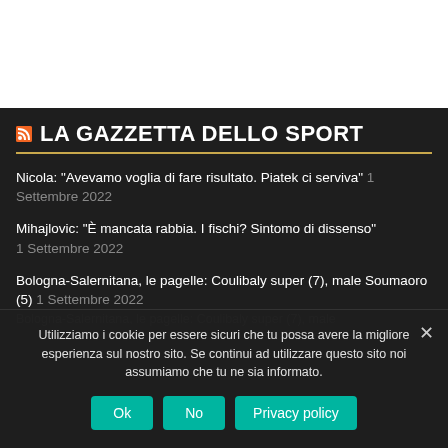[Figure (screenshot): Top white section with partial logo/text visible at top]
LA GAZZETTA DELLO SPORT
Nicola: "Avevamo voglia di fare risultato. Piatek ci serviva" 1 Settembre 2022
Mihajlovic: "È mancata rabbia. I fischi? Sintomo di dissenso" 1 Settembre 2022
Bologna-Salernitana, le pagelle: Coulibaly super (7), male Soumaoro (5) 1 Settembre 2022
Bologna-Salernitana, le pagelle: Coulibaly super (7), male
Utilizziamo i cookie per essere sicuri che tu possa avere la migliore esperienza sul nostro sito. Se continui ad utilizzare questo sito noi assumiamo che tu ne sia informato.